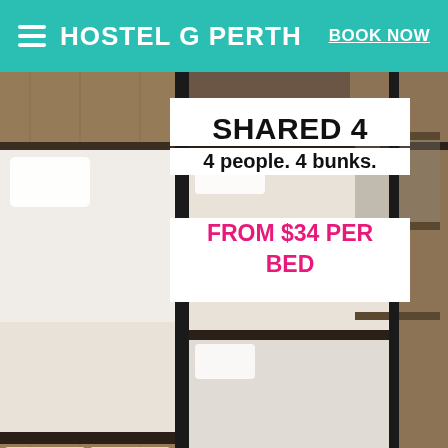HOSTEL G PERTH | BOOK NOW
[Figure (photo): Interior of a hostel bunk room showing modern bunk beds with black metal frames, white bedding, wooden wall panels, reading lights, and storage drawers under the beds. A bag is visible in the lower right corner.]
SHARED 4
4 people. 4 bunks.
FROM $34 PER BED
[Figure (photo): Lower portion of a hostel room with dark tones, showing surfboard-themed artwork or decorations in the lower right area with blue and teal colors.]